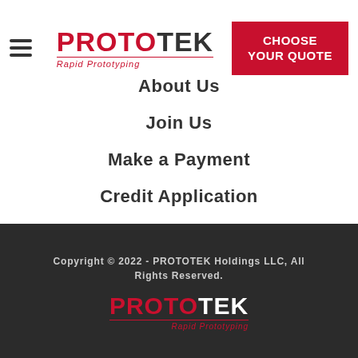[Figure (logo): PROTOTEK Rapid Prototyping logo with hamburger menu and red CHOOSE YOUR QUOTE button]
About Us
Join Us
Make a Payment
Credit Application
Privacy Policy
Copyright © 2022 - PROTOTEK Holdings LLC, All Rights Reserved.